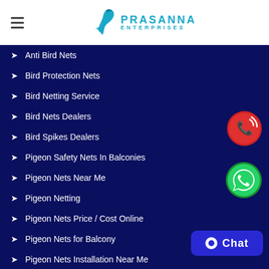[Figure (logo): Prasanna Enterprises logo with teal bird icon, hamburger menu on left]
Anti Bird Nets
Bird Protection Nets
Bird Netting Service
Bird Nets Dealers
Bird Spikes Dealers
Pigeon Safety Nets In Balconies
Pigeon Nets Near Me
Pigeon Netting
Pigeon Nets Price / Cost Online
Pigeon Nets for Balcony
Pigeon Nets Installation Near Me